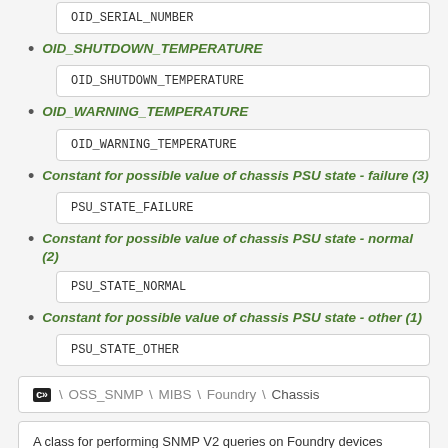[Figure (screenshot): Code box showing OID_SERIAL_NUMBER]
OID_SHUTDOWN_TEMPERATURE
[Figure (screenshot): Code box showing OID_SHUTDOWN_TEMPERATURE]
OID_WARNING_TEMPERATURE
[Figure (screenshot): Code box showing OID_WARNING_TEMPERATURE]
Constant for possible value of chassis PSU state - failure (3)
[Figure (screenshot): Code box showing PSU_STATE_FAILURE]
Constant for possible value of chassis PSU state - normal (2)
[Figure (screenshot): Code box showing PSU_STATE_NORMAL]
Constant for possible value of chassis PSU state - other (1)
[Figure (screenshot): Code box showing PSU_STATE_OTHER]
C \ OSS_SNMP \ MIBS \ Foundry \ Chassis
A class for performing SNMP V2 queries on Foundry devices
| Copyright |  |
| --- | --- |
| Copyright | Copyright (c) 2013, Open Source Solutions Limited, Dublin, Ireland |